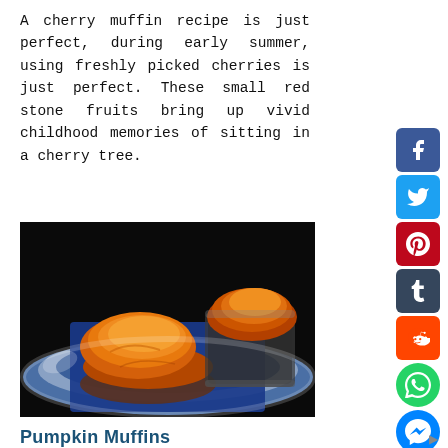A cherry muffin recipe is just perfect, during early summer, using freshly picked cherries is just perfect. These small red stone fruits bring up vivid childhood memories of sitting in a cherry tree.
[Figure (photo): Two golden-brown cherry muffins on a blue napkin on a blue and white striped plate, one muffin in a glass ramekin.]
Pumpkin Muffins